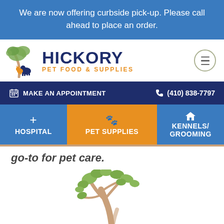We are now offering curbside pick-up. Please call ahead to place an order.
[Figure (logo): Hickory Pet Food & Supplies logo with tree and pet silhouettes]
MAKE AN APPOINTMENT   (410) 838-7797
HOSPITAL   PET SUPPLIES   KENNELS/ GROOMING
go-to for pet care.
[Figure (illustration): Decorative tree illustration with green leaves and tan trunk]